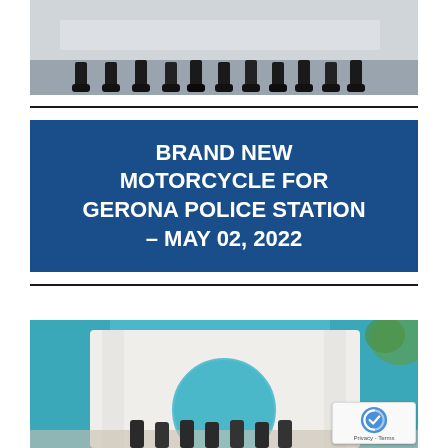[Figure (photo): Group photo showing people's legs and feet seated in a row, wearing dark shoes on a light floor]
BRAND NEW MOTORCYCLE FOR GERONA POLICE STATION – MAY 02, 2022
[Figure (photo): People gathered at a teal-colored building with a large circular arch entrance, outdoors]